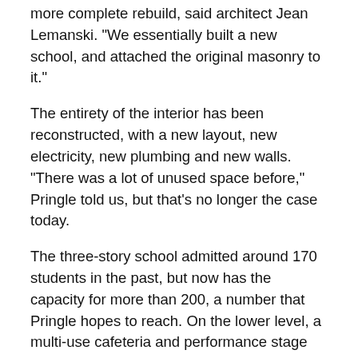more complete rebuild, said architect Jean Lemanski. "We essentially built a new school, and attached the original masonry to it."
The entirety of the interior has been reconstructed, with a new layout, new electricity, new plumbing and new walls. "There was a lot of unused space before," Pringle told us, but that's no longer the case today.
The three-story school admitted around 170 students in the past, but now has the capacity for more than 200, a number that Pringle hopes to reach. On the lower level, a multi-use cafeteria and performance stage has been rebuilt, and thanks to funding from the American Conservatory Theater, it will eventually receive a new sound system and stage curtains.